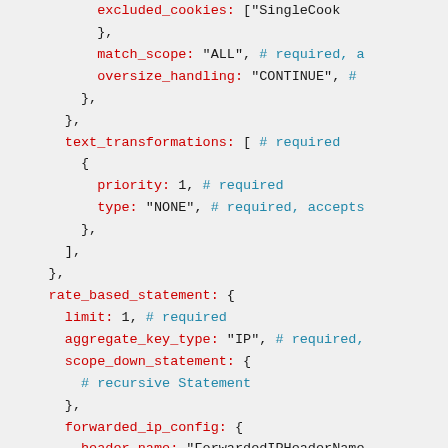Code snippet showing YAML/configuration with rate_based_statement, text_transformations, scope_down_statement, forwarded_ip_config, and and_statement fields.